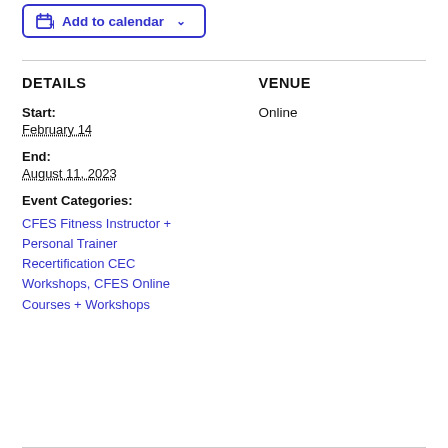Add to calendar
DETAILS
VENUE
Start:
February 14
End:
August 11, 2023
Event Categories:
CFES Fitness Instructor + Personal Trainer Recertification CEC Workshops, CFES Online Courses + Workshops
Online